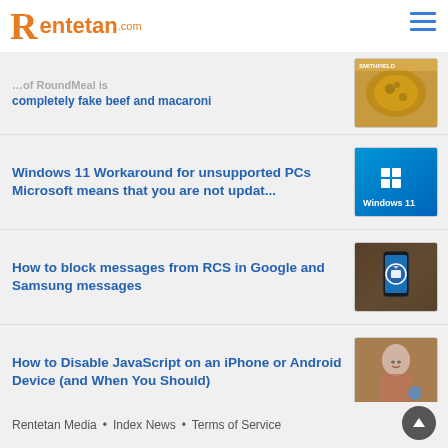Rentetan.com
completely fake beef and macaroni
[Figure (photo): Food product image - macaroni and beef]
Windows 11 Workaround for unsupported PCs Microsoft means that you are not updat...
[Figure (screenshot): Windows 11 logo on blue background]
How to block messages from RCS in Google and Samsung messages
[Figure (photo): Hand holding smartphone with messaging app]
How to Disable JavaScript on an iPhone or Android Device (and When You Should)
[Figure (photo): Person smiling while using smartphone]
Rentetan Media  •  Index News  •  Terms of Service